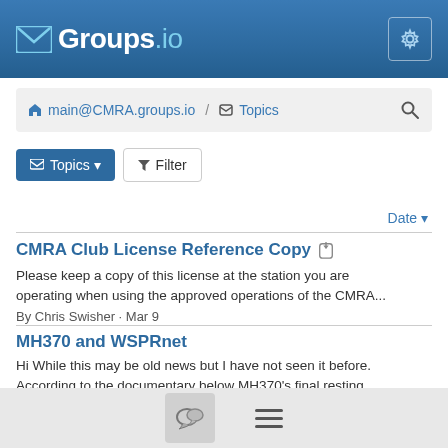Groups.io
main@CMRA.groups.io / Topics
Topics | Filter
Date
CMRA Club License Reference Copy
Please keep a copy of this license at the station you are operating when using the approved operations of the CMRA...
By Chris Swisher · Mar 9
MH370 and WSPRnet
Hi While this may be old news but I have not seen it before. According to the documentary below MH370's final resting...
By Fred Dittrich · Mar 8